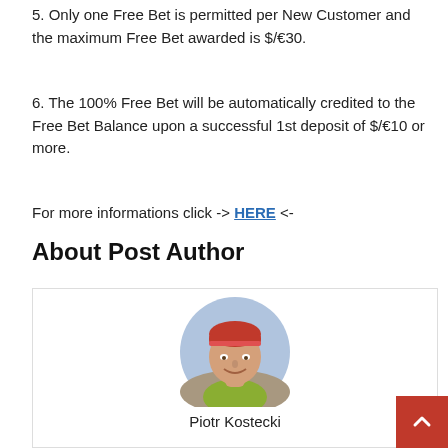5. Only one Free Bet is permitted per New Customer and the maximum Free Bet awarded is $/€30.
6. The 100% Free Bet will be automatically credited to the Free Bet Balance upon a successful 1st deposit of $/€10 or more.
For more informations click -> HERE <-
About Post Author
[Figure (photo): Circular profile photo of Piotr Kostecki, a man wearing a red cap, smiling, with outdoor background.]
Piotr Kostecki